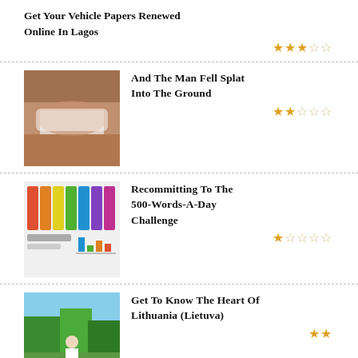Get Your Vehicle Papers Renewed Online In Lagos
★★★☆☆
[Figure (photo): Photo of a person's arm/elbow area with white bandage or sleeve]
And The Man Fell Splat Into The Ground
★★☆☆☆
[Figure (screenshot): Screenshot of a chart or word processing app with colorful text and graph]
Recommitting To The 500-Words-A-Day Challenge
★☆☆☆☆
[Figure (photo): Photo of a man crouching outdoors in a park with trees in background]
Get To Know The Heart Of Lithuania (Lietuva)
★★
How To Block/Deactivate Your ATM Card In Nigeria Without Going To The